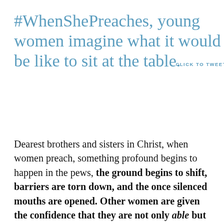#WhenShePreaches, young women imagine what it would be like to sit at the table.
Dearest brothers and sisters in Christ, when women preach, something profound begins to happen in the pews, the ground begins to shift, barriers are torn down, and the once silenced mouths are opened. Other women are given the confidence that they are not only able but also called to use their gifts